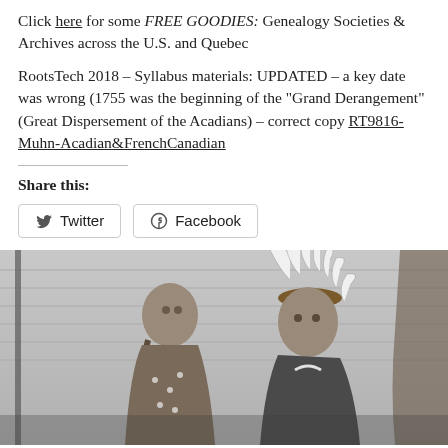Click here for some FREE GOODIES: Genealogy Societies & Archives across the U.S. and Quebec
RootsTech 2018 – Syllabus materials: UPDATED – a key date was wrong (1755 was the beginning of the "Grand Derangement" (Great Dispersement of the Acadians) – correct copy RT9816-Muhn-Acadian&FrenchCanadian
Share this:
Twitter   Facebook
[Figure (photo): Black and white historical photograph of two Native American individuals, one wearing a traditional feathered headdress, posed in front of a wooden building.]